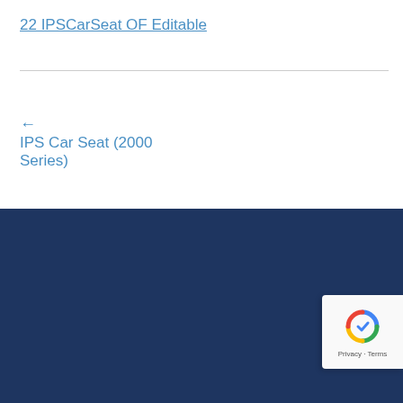22 IPSCarSeat OF Editable
← IPS Car Seat (2000 Series)
BROWSE PRODUCTS
CAR SEAT